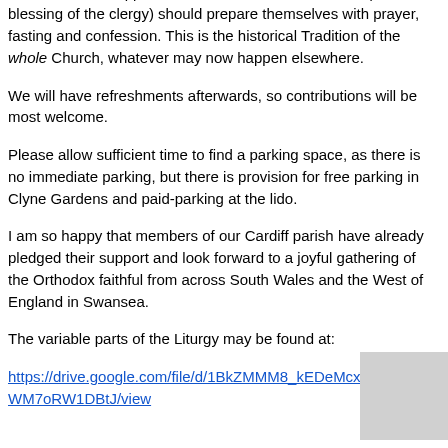The Hours will begin at 10:00, followed by the Divine Liturgy. Confessions will be heard before and during the Hours, and may we remind worshippers that all who wish to commune (with the blessing of the clergy) should prepare themselves with prayer, fasting and confession. This is the historical Tradition of the whole Church, whatever may now happen elsewhere.
We will have refreshments afterwards, so contributions will be most welcome.
Please allow sufficient time to find a parking space, as there is no immediate parking, but there is provision for free parking in Clyne Gardens and paid-parking at the lido.
I am so happy that members of our Cardiff parish have already pledged their support and look forward to a joyful gathering of the Orthodox faithful from across South Wales and the West of England in Swansea.
The variable parts of the Liturgy may be found at:
https://drive.google.com/file/d/1BkZMMM8_kEDeMcxuFNaviWM7oRW1DBtJ/view